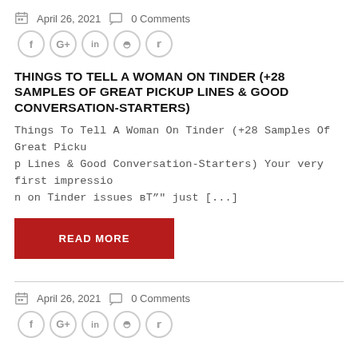April 26, 2021   0 Comments
[Figure (other): Social share icons: Facebook, Google+, LinkedIn, StumbleUpon, Twitter]
THINGS TO TELL A WOMAN ON TINDER (+28 SAMPLES OF GREAT PICKUP LINES & GOOD CONVERSATION-STARTERS)
Things To Tell A Woman On Tinder (+28 Samples Of Great Pickup Lines & Good Conversation-Starters) Your very first impression on Tinder issues вЂ" just [...]
READ MORE
April 26, 2021   0 Comments
[Figure (other): Social share icons: Facebook, Google+, LinkedIn, StumbleUpon, Twitter]